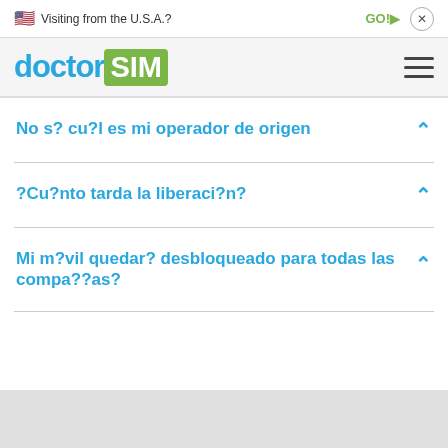Visiting from the U.S.A.? GO! ×
[Figure (logo): doctorSIM logo with hamburger menu icon]
No s? cu?l es mi operador de origen
?Cu?nto tarda la liberaci?n?
Mi m?vil quedar? desbloqueado para todas las compa??as?